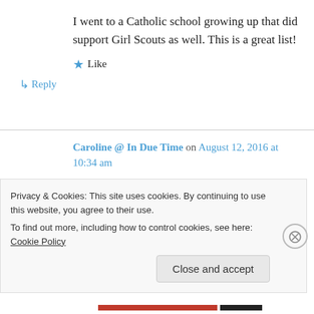I went to a Catholic school growing up that did support Girl Scouts as well. This is a great list!
★ Like
↳ Reply
Caroline @ In Due Time on August 12, 2016 at 10:34 am
I love the desire to show mercy! How important to teach at a younger age
Privacy & Cookies: This site uses cookies. By continuing to use this website, you agree to their use.
To find out more, including how to control cookies, see here: Cookie Policy
Close and accept